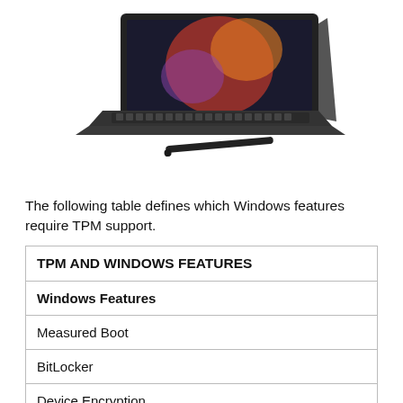[Figure (photo): Microsoft Surface Pro tablet with keyboard cover and stylus pen, shown at an angle on a white background.]
The following table defines which Windows features require TPM support.
| Windows Features |
| --- |
| Measured Boot |
| BitLocker |
| Device Encryption |
| Windows Defender Application Control (Device Guar… |